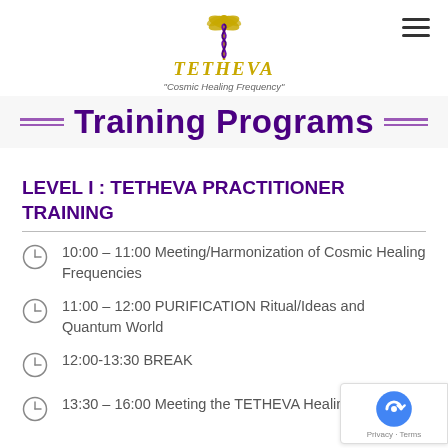[Figure (logo): TETHEVA logo with caduceus symbol and text 'Cosmic Healing Frequency']
Training Programs
LEVEL I : TETHEVA PRACTITIONER TRAINING
10:00 – 11:00 Meeting/Harmonization of Cosmic Healing Frequencies
11:00 – 12:00 PURIFICATION Ritual/Ideas and Quantum World
12:00-13:30 BREAK
13:30 – 16:00 Meeting the TETHEVA Healing